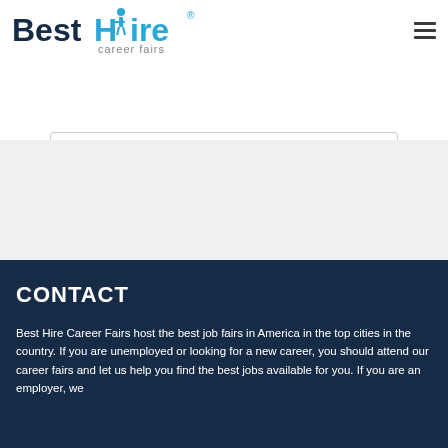[Figure (logo): BestHire career fairs logo — 'Best' in dark navy bold, 'Hire' in cyan blue bold with a person figure icon, 'career fairs' in gray below]
[Figure (other): Hamburger menu icon (three horizontal lines)]
[Figure (other): Search input box (white rounded rectangle)]
CONTACT
Best Hire Career Fairs host the best job fairs in America in the top cities in the country. If you are unemployed or looking for a new career, you should attend our career fairs and let us help you find the best jobs available for you. If you are an employer, we